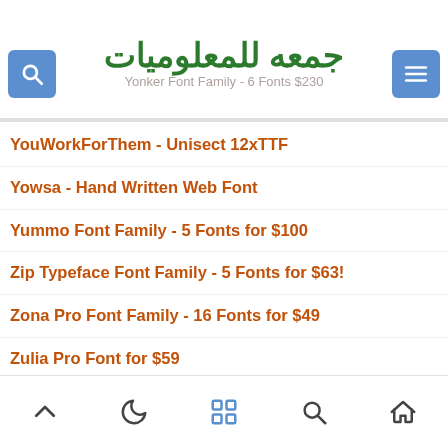$49!) Yonker Font Family - 6 Fonts $230
جمعه للمعلوميات
YouWorkForThem - Unisect 12xTTF
Yowsa - Hand Written Web Font
Yummo Font Family - 5 Fonts for $100
Zip Typeface Font Family - 5 Fonts for $63!
Zona Pro Font Family - 16 Fonts for $49
Zulia Pro Font for $59
مساحة الاسطوانة 3.8 جيجا وبعد الضغط 1.8 جيجا
navigation icons: up, moon, grid, search, home